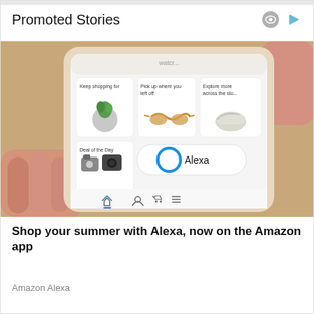Promoted Stories
[Figure (photo): A hand holding a smartphone displaying the Amazon shopping app, showing product recommendations including a plant, sunglasses, shoes, Deal of the Day items, and the Alexa button. The phone has a gold/beige case against a warm background.]
Shop your summer with Alexa, now on the Amazon app
Amazon Alexa